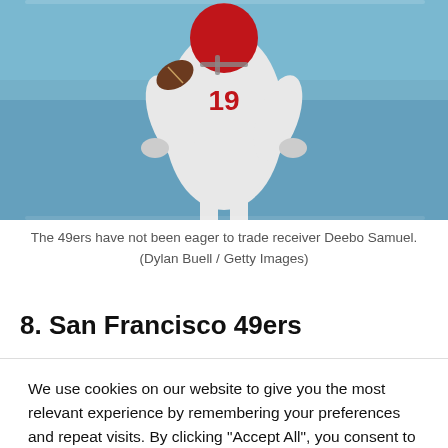[Figure (photo): A San Francisco 49ers football player wearing number 19 in a white uniform and red helmet, catching or carrying a football, with a blue stadium background and crowd visible.]
The 49ers have not been eager to trade receiver Deebo Samuel.
(Dylan Buell / Getty Images)
8. San Francisco 49ers
We use cookies on our website to give you the most relevant experience by remembering your preferences and repeat visits. By clicking "Accept All", you consent to the use of ALL the cookies. However, you may visit "Cookie Settings" to provide a controlled consent.